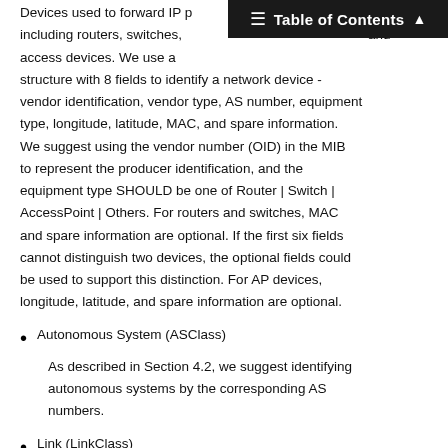Table of Contents
Devices used to forward IP packets, including routers, switches, and access devices. We use a structure with 8 fields to identify a network device - vendor identification, vendor type, AS number, equipment type, longitude, latitude, MAC, and spare information. We suggest using the vendor number (OID) in the MIB to represent the producer identification, and the equipment type SHOULD be one of Router | Switch | AccessPoint | Others. For routers and switches, MAC and spare information are optional. If the first six fields cannot distinguish two devices, the optional fields could be used to support this distinction. For AP devices, longitude, latitude, and spare information are optional.
Autonomous System (ASClass)
As described in Section 4.2, we suggest identifying autonomous systems by the corresponding AS numbers.
Link (LinkClass)
A link refers to a single link-layer connection between two network devices or between an end system and a